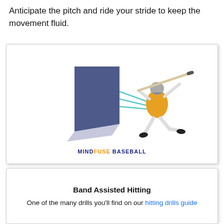Anticipate the pitch and ride your stride to keep the movement fluid.
[Figure (illustration): Illustration of a baseball batter in mid-swing stance next to a large dark blue rectangular panel, with cyan motion lines connecting the panel to the batter, and a MINDFUSE BASEBALL logo at the bottom.]
Band Assisted Hitting
One of the many drills you’ll find on our hitting drills guide